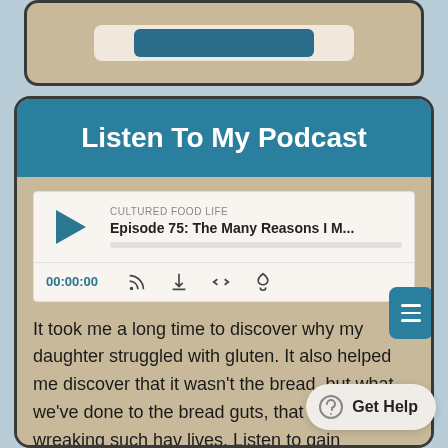[Figure (screenshot): Partial top card showing a button/widget at the top of the page]
Listen To My Podcast
[Figure (screenshot): Podcast player widget showing CULTURED FOOD LIFE, Episode 75: The Many Reasons I M..., time 00:00:00 and player controls]
It took me a long time to discover why my daughter struggled with gluten. It also helped me discover that it wasn't the bread, but what we've done to the bread guts, that was wreaking such hav lives. Listen to gain understanding as to why